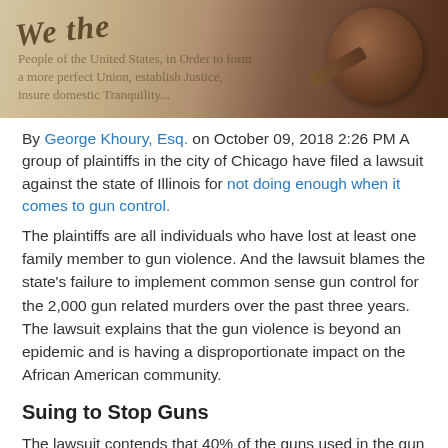[Figure (photo): Photo showing a Constitution document with cursive 'We the...' text and a wooden gavel, symbolizing law and legal proceedings.]
By George Khoury, Esq. on October 09, 2018 2:26 PM A group of plaintiffs in the city of Chicago have filed a lawsuit against the state of Illinois for not doing enough when it comes to gun control.
The plaintiffs are all individuals who have lost at least one family member to gun violence. And the lawsuit blames the state's failure to implement common sense gun control for the 2,000 gun related murders over the past three years. The lawsuit explains that the gun violence is beyond an epidemic and is having a disproportionate impact on the African American community.
Suing to Stop Guns
The lawsuit contends that 40% of the guns used in the gun...